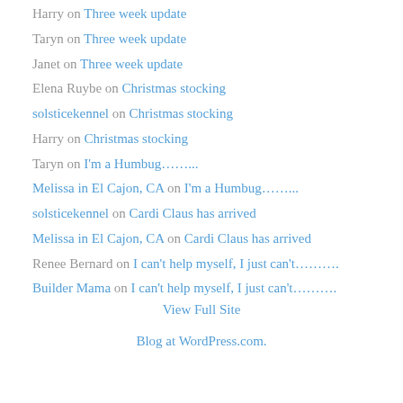Harry on Three week update
Taryn on Three week update
Janet on Three week update
Elena Ruybe on Christmas stocking
solsticekennel on Christmas stocking
Harry on Christmas stocking
Taryn on I'm a Humbug……..
Melissa in El Cajon, CA on I'm a Humbug……..
solsticekennel on Cardi Claus has arrived
Melissa in El Cajon, CA on Cardi Claus has arrived
Renee Bernard on I can't help myself, I just can't……….
Builder Mama on I can't help myself, I just can't……….
View Full Site
Blog at WordPress.com.